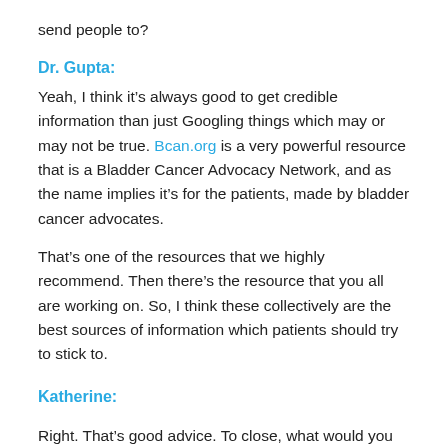send people to?
Dr. Gupta:
Yeah, I think it’s always good to get credible information than just Googling things which may or may not be true. Bcan.org is a very powerful resource that is a Bladder Cancer Advocacy Network, and as the name implies it’s for the patients, made by bladder cancer advocates.
That’s one of the resources that we highly recommend. Then there’s the resource that you all are working on. So, I think these collectively are the best sources of information which patients should try to stick to.
Katherine:
Right. That’s good advice. To close, what would you like to leave our audience with? What are you hopeful